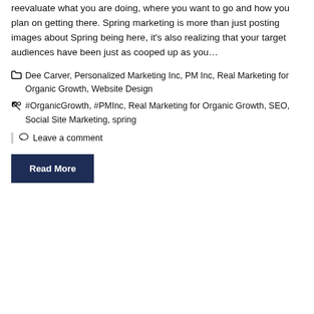reevaluate what you are doing, where you want to go and how you plan on getting there. Spring marketing is more than just posting images about Spring being here, it's also realizing that your target audiences have been just as cooped up as you…
[folder icon] Dee Carver, Personalized Marketing Inc, PM Inc, Real Marketing for Organic Growth, Website Design
[tag icon] #OrganicGrowth, #PMInc, Real Marketing for Organic Growth, SEO, Social Site Marketing, spring
[comment icon] Leave a comment
Read More